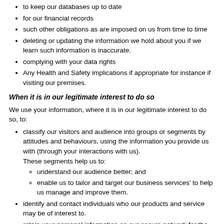to keep our databases up to date
for our financial records
such other obligations as are imposed on us from time to time
deleting or updating the information we hold about you if we learn such information is inaccurate.
complying with your data rights
Any Health and Safety implications if appropriate for instance if visiting our premises.
When it is in our legitimate interest to do so
We use your information, where it is in our legitimate interest to do so, to:
classify our visitors and audience into groups or segments by attitudes and behaviours, using the information you provide us with (through your interactions with us). These segments help us to: understand our audience better; and enable us to tailor and target our business services' to help us manage and improve them.
identify and contact individuals who our products and service may be of interest to.
retain your personal information on our secure network for the above purposes.